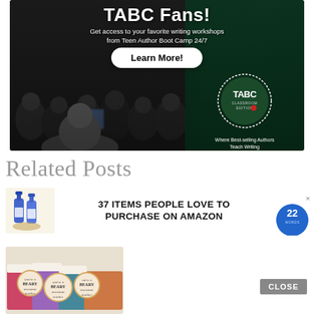[Figure (photo): TABC (Teen Author Boot Camp) Classroom Edition advertisement banner. Dark background with crowd of students. Text: 'TABC Fans! Get access to your favorite writing workshops from Teen Author Boot Camp 24/7'. Button: 'Learn More!'. Logo with tagline 'Where Best-selling Authors Teach Writing'.]
Related Posts
[Figure (photo): Thumbnail image of blue spray bottles (Amazon product) next to bold text: '37 ITEMS PEOPLE LOVE TO PURCHASE ON AMAZON' with 22Words brand badge.]
[Figure (photo): Colorful paper teacher gift bags with circular tags reading 'you're a BEARY awesome teacher'.]
CLOSE